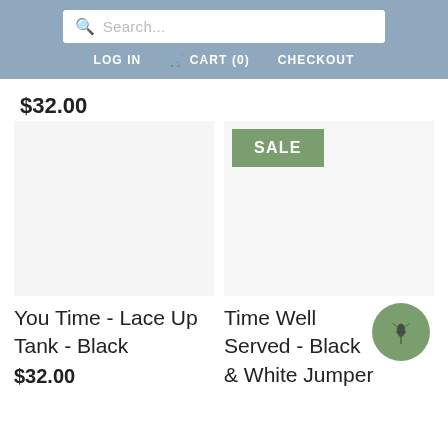Search... LOG IN CART (0) CHECKOUT
$32.00
[Figure (other): SALE badge overlay on product image area]
You Time - Lace Up Tank - Black
$32.00
Time Well Served - Black & White Jumper